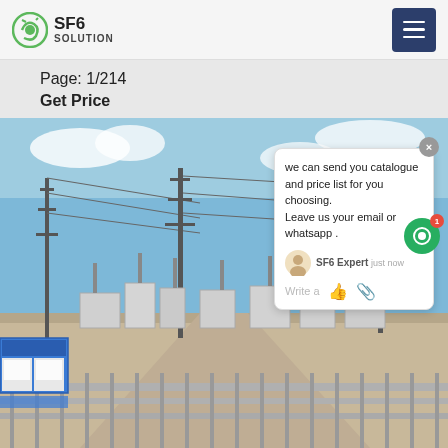SF6 SOLUTION
Page: 1/214
Get Price
[Figure (photo): Electrical substation with high-voltage transmission lines, insulators, transformers, and equipment. Metal fencing in foreground, blue sky background. Safety signage visible on left side.]
we can send you catalogue and price list for you choosing.
Leave us your email or whatsapp .
SF6 Expert   just now
Write a